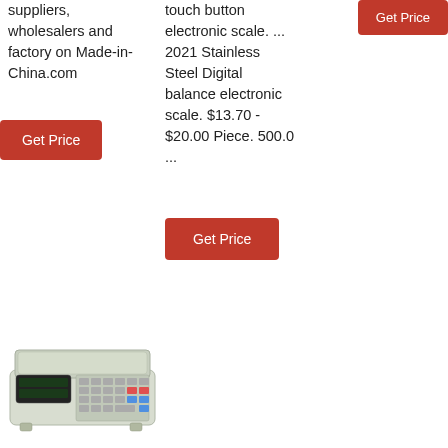suppliers, wholesalers and factory on Made-in-China.com
[Figure (other): Get Price button (red)]
touch button electronic scale. ... 2021 Stainless Steel Digital balance electronic scale. $13.70 - $20.00 Piece. 500.0 ...
[Figure (other): Get Price button (red) top right]
[Figure (other): Get Price button (red) center]
[Figure (photo): Photo of an electronic counting scale / price computing scale, light grey/beige color with digital display and keypad]